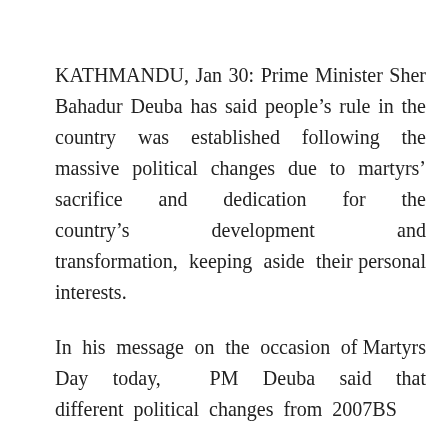KATHMANDU, Jan 30: Prime Minister Sher Bahadur Deuba has said people's rule in the country was established following the massive political changes due to martyrs' sacrifice and dedication for the country's development and transformation, keeping aside their personal interests.
In his message on the occasion of Martyrs Day today, PM Deuba said that different political changes from 2007BS